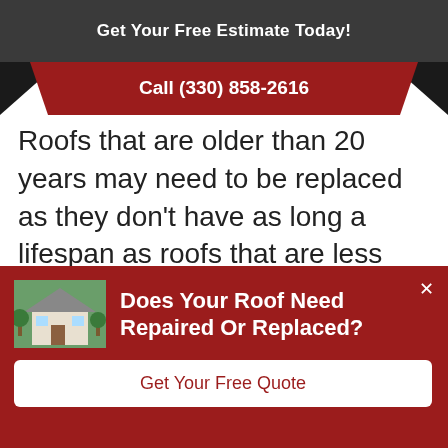Get Your Free Estimate Today!
Call (330) 858-2616
Roofs that are older than 20 years may need to be replaced as they don't have as long a lifespan as roofs that are less than 20 years old. However, roofs that are in good condition and have been taken care of should last up to 30 years
Does Your Roof Need Repaired Or Replaced?
Get Your Free Quote